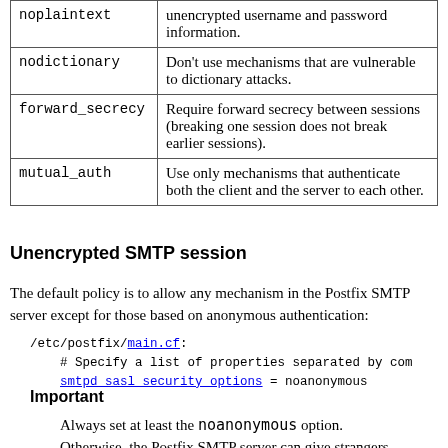| Property | Description |
| --- | --- |
| noplaintext | unencrypted username and password information. |
| nodictionary | Don't use mechanisms that are vulnerable to dictionary attacks. |
| forward_secrecy | Require forward secrecy between sessions (breaking one session does not break earlier sessions). |
| mutual_auth | Use only mechanisms that authenticate both the client and the server to each other. |
Unencrypted SMTP session
The default policy is to allow any mechanism in the Postfix SMTP server except for those based on anonymous authentication:
/etc/postfix/main.cf:
    # Specify a list of properties separated by comm
    smtpd_sasl_security_options = noanonymous
Important
Always set at least the noanonymous option. Otherwise, the Postfix SMTP server can give strangers the same authorization as a properly-authenticated